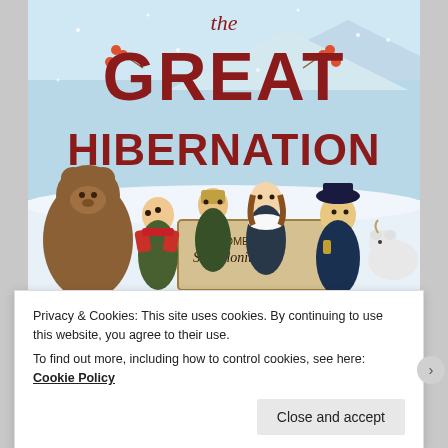[Figure (illustration): Book cover of 'The Great Hibernation' showing illustrated children characters and a bear in a snowy winter scene with a 'Welcome to St. Polonius' sign. Title text in dark red reads 'the GREAT HIBERNATION'.]
Privacy & Cookies: This site uses cookies. By continuing to use this website, you agree to their use.
To find out more, including how to control cookies, see here: Cookie Policy
Close and accept